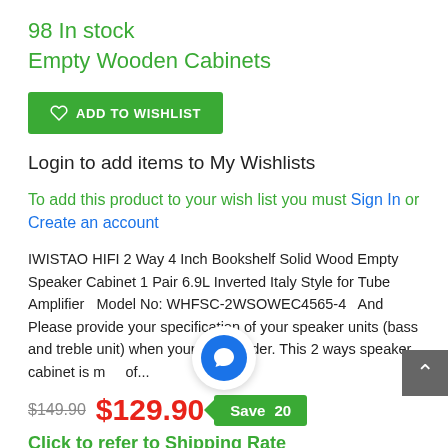98 In stock
Empty Wooden Cabinets
[Figure (other): Green ADD TO WISHLIST button with heart icon]
Login to add items to My Wishlists
To add this product to your wish list you must Sign In or Create an account
IWISTAO HIFI 2 Way 4 Inch Bookshelf Solid Wood Empty Speaker Cabinet 1 Pair 6.9L Inverted Italy Style for Tube Amplifier  Model No: WHFSC-2WSOWEC4565-4  And Please provide your specification of your speaker units (bass and treble unit) when your place order. This 2 ways speaker cabinet is m  of...
$149.90  $129.90  Save...20
Click to refer to Shipping Rate